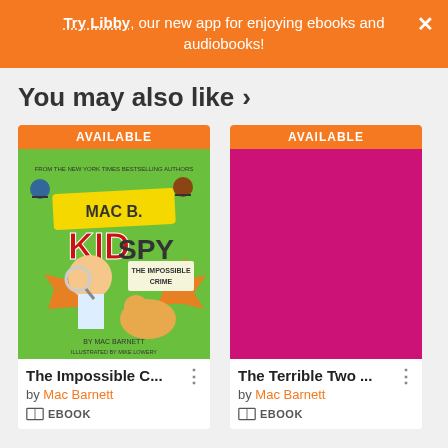Try Libby, our new app for enjoying ebooks and audiobooks!
You may also like >
[Figure (illustration): Book cover: Mac B. Kid Spy - The Impossible Crime, illustrated by Mac Barnett, green cartoon cover]
AVAILABLE
The Impossible C... by Mac Barnett EBOOK
[Figure (illustration): Book cover placeholder: magenta/pink solid color]
AVAILABLE
The Terrible Two ... by Mac Barnett EBOOK